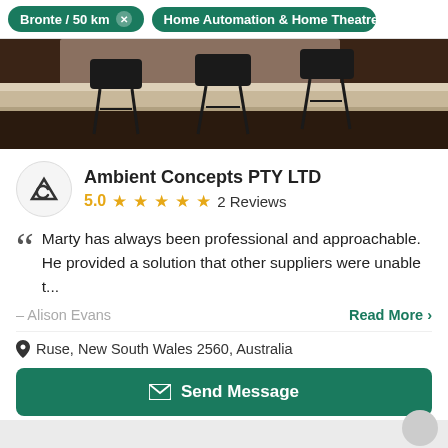Bronte / 50 km  ×    Home Automation & Home Theatre Desig
[Figure (photo): Interior photo showing bar stools at a counter in a modern home setting with dark wood tones]
Ambient Concepts PTY LTD
5.0 ★★★★★  2 Reviews
Marty has always been professional and approachable. He provided a solution that other suppliers were unable t...
– Alison Evans    Read More >
Ruse, New South Wales 2560, Australia
Send Message